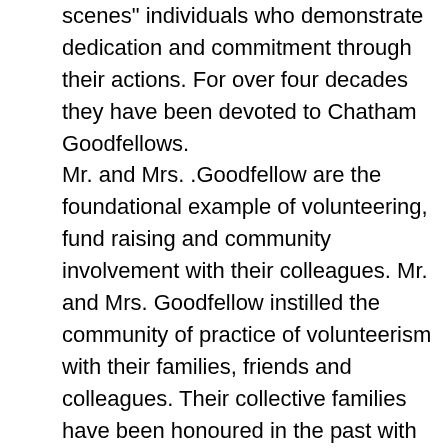scenes" individuals who demonstrate dedication and commitment through their actions.  For over four decades they have been devoted to Chatham Goodfellows. Mr. and Mrs. .Goodfellow are the foundational example of volunteering, fund raising and community involvement with their colleagues. Mr. and Mrs. Goodfellow instilled the community of practice of volunteerism with their families, friends and colleagues. Their collective families have been honoured in the past with certificate awards from Chatham Goodfellows.